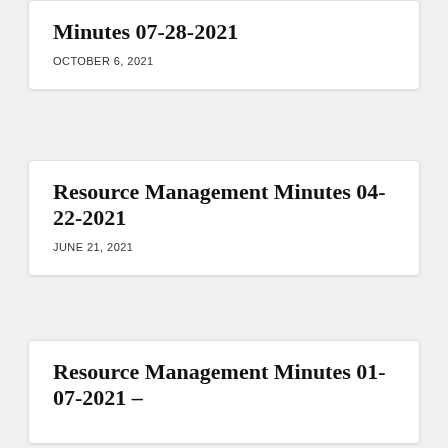Minutes 07-28-2021
OCTOBER 6, 2021
Resource Management Minutes 04-22-2021
JUNE 21, 2021
Resource Management Minutes 01-07-2021 –